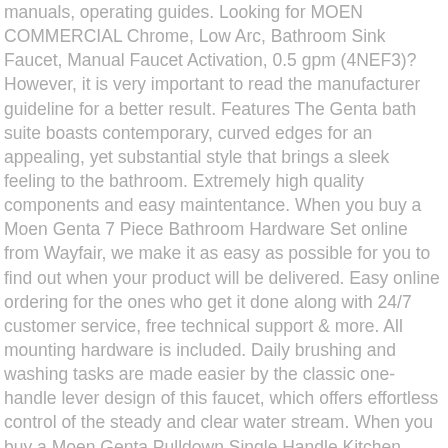manuals, operating guides. Looking for MOEN COMMERCIAL Chrome, Low Arc, Bathroom Sink Faucet, Manual Faucet Activation, 0.5 gpm (4NEF3)? However, it is very important to read the manufacturer guideline for a better result. Features The Genta bath suite boasts contemporary, curved edges for an appealing, yet substantial style that brings a sleek feeling to the bathroom. Extremely high quality components and easy maintentance. When you buy a Moen Genta 7 Piece Bathroom Hardware Set online from Wayfair, we make it as easy as possible for you to find out when your product will be delivered. Easy online ordering for the ones who get it done along with 24/7 customer service, free technical support & more. All mounting hardware is included. Daily brushing and washing tasks are made easier by the classic one-handle lever design of this faucet, which offers effortless control of the steady and clear water stream. When you buy a Moen Genta Pulldown Single Handle Kitchen Faucet with Power Boost Technology and Duralock online from Wayfair, we make it as easy as possible for you to find out when your product will be